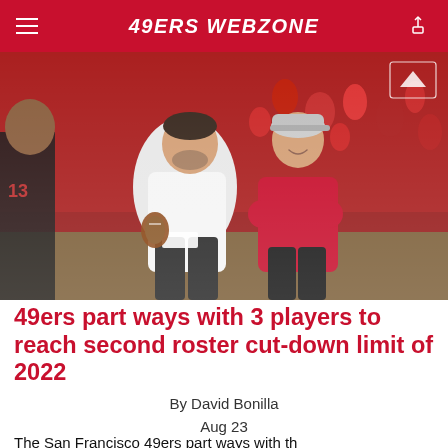49ERS WEBZONE
[Figure (photo): Two San Francisco 49ers coaches/staff on a football field. Left person in white long-sleeve shirt holding a football, right person in red long-sleeve shirt with arms crossed and smiling. Red-clad crowd visible in background.]
49ers part ways with 3 players to reach second roster cut-down limit of 2022
By David Bonilla
Aug 23
The San Francisco 49ers part ways with th...